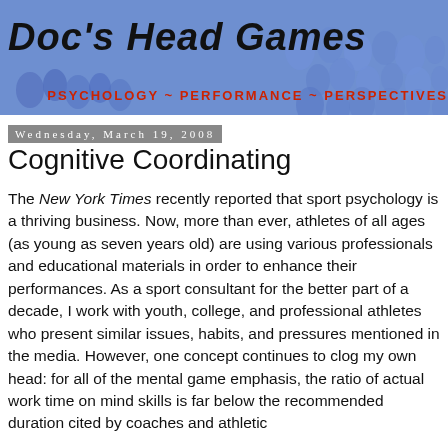[Figure (illustration): Doc's Head Games blog banner with blue-tinted crowd background, bold black italic title 'Doc's Head Games' and red subtitle 'PSYCHOLOGY ~ PERFORMANCE ~ PERSPECTIVES']
Wednesday, March 19, 2008
Cognitive Coordinating
The New York Times recently reported that sport psychology is a thriving business. Now, more than ever, athletes of all ages (as young as seven years old) are using various professionals and educational materials in order to enhance their performances. As a sport consultant for the better part of a decade, I work with youth, college, and professional athletes who present similar issues, habits, and pressures mentioned in the media. However, one concept continues to clog my own head: for all of the mental game emphasis, the ratio of actual work time on mind skills is far below the recommended duration cited by coaches and athletic